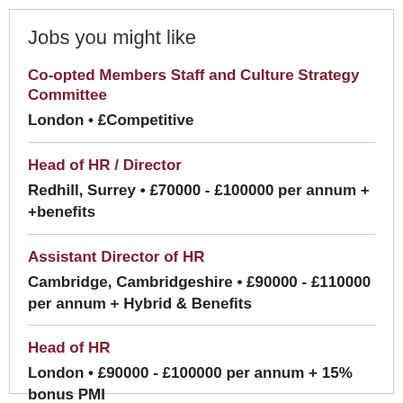Jobs you might like
Co-opted Members Staff and Culture Strategy Committee
London • £Competitive
Head of HR / Director
Redhill, Surrey • £70000 - £100000 per annum + +benefits
Assistant Director of HR
Cambridge, Cambridgeshire • £90000 - £110000 per annum + Hybrid & Benefits
Head of HR
London • £90000 - £100000 per annum + 15% bonus PMI
HR Lead - Europe
England • £85000 - £115000 per annum + car